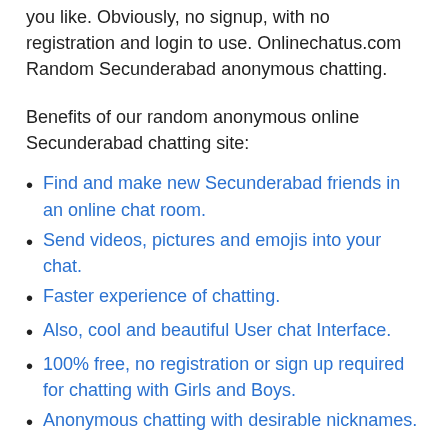you like. Obviously, no signup, with no registration and login to use. Onlinechatus.com Random Secunderabad anonymous chatting.
Benefits of our random anonymous online Secunderabad chatting site:
Find and make new Secunderabad friends in an online chat room.
Send videos, pictures and emojis into your chat.
Faster experience of chatting.
Also, cool and beautiful User chat Interface.
100% free, no registration or sign up required for chatting with Girls and Boys.
Anonymous chatting with desirable nicknames.